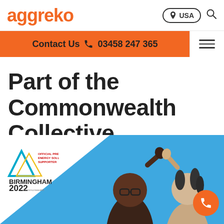aggreko
USA
Contact Us 03458 247 365
Part of the Commonwealth Collective
[Figure (photo): Photo of two people holding hands raised in celebration against a blue background, with Birmingham 2022 Commonwealth Games official energy solutions supplier logo in the top left.]